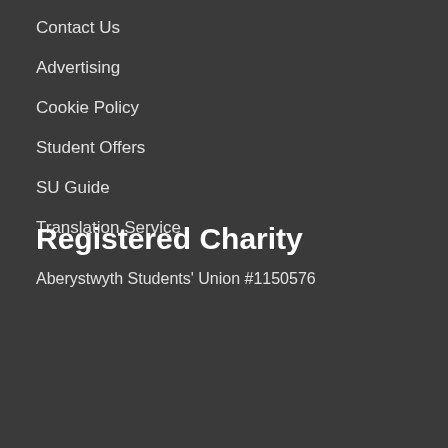Contact Us
Advertising
Cookie Policy
Student Offers
SU Guide
Translation Service
Registered Charity
Aberystwyth Students' Union #1150576